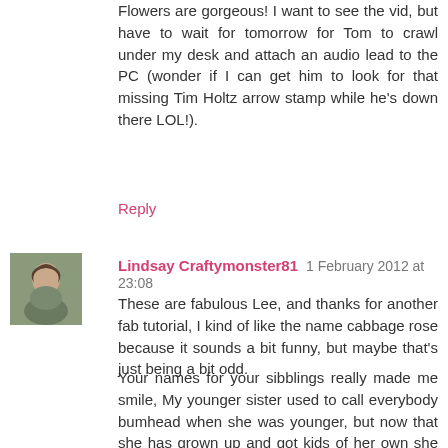Flowers are gorgeous! I want to see the vid, but have to wait for tomorrow for Tom to crawl under my desk and attach an audio lead to the PC (wonder if I can get him to look for that missing Tim Holtz arrow stamp while he's down there LOL!).
Reply
[Figure (photo): Avatar photo of Lindsay Craftymonster81, a woman with dark hair wearing a grey/green jacket]
Lindsay Craftymonster81  1 February 2012 at 23:08
These are fabulous Lee, and thanks for another fab tutorial, I kind of like the name cabbage rose because it sounds a bit funny, but maybe that's just being a bit odd.
Your names for your sibblings really made me smile, My younger sister used to call everybody bumhead when she was younger, but now that she has grown up and got kids of her own she normally calls me "a noodle" but then we all called her moosepig when she was little so I think she is with in her rights lol. It becomes like a term of endearment with large families, my younger brother also got called radish for years (which he hated).